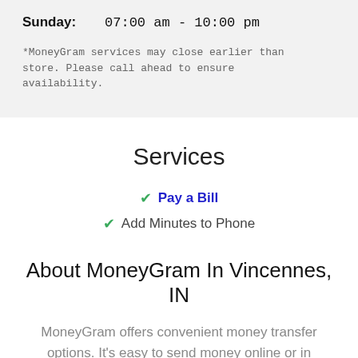Sunday:   07:00 am - 10:00 pm
*MoneyGram services may close earlier than store. Please call ahead to ensure availability.
Services
✓ Pay a Bill
✓ Add Minutes to Phone
About MoneyGram In Vincennes, IN
MoneyGram offers convenient money transfer options. It's easy to send money online or in person; for cash pick-up or direct to a bank. We